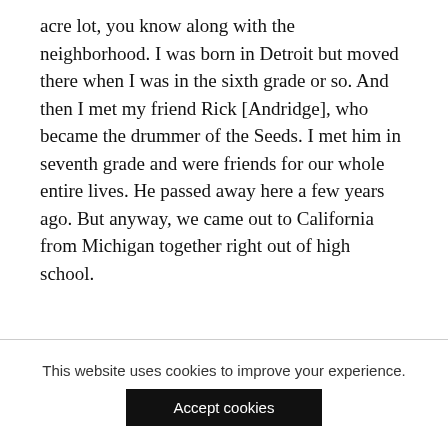acre lot, you know along with the neighborhood. I was born in Detroit but moved there when I was in the sixth grade or so. And then I met my friend Rick [Andridge], who became the drummer of the Seeds. I met him in seventh grade and were friends for our whole entire lives. He passed away here a few years ago. But anyway, we came out to California from Michigan together right out of high school.
Do you come from a musical family or was that more your own thing?
This website uses cookies to improve your experience.
Accept cookies